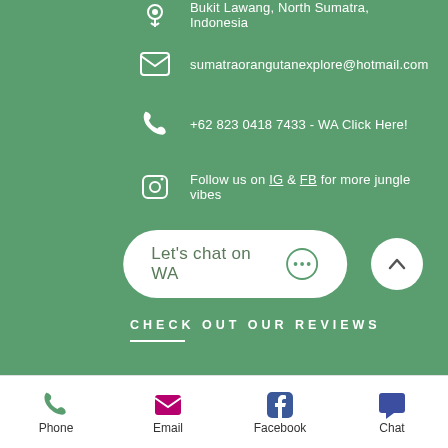Bukit Lawang, North Sumatra, Indonesia
sumatraorangutanexplore@hotmail.com
+62 823 0418 7433 - WA Click Here!
Follow us on IG & FB for more jungle vibes
[Figure (other): WhatsApp chat button with speech bubble icon reading: Let's chat on WA]
CHECK OUT OUR REVIEWS
[Figure (other): Scroll to top button (chevron up arrow in white circle)]
Phone  Email  Facebook  Chat